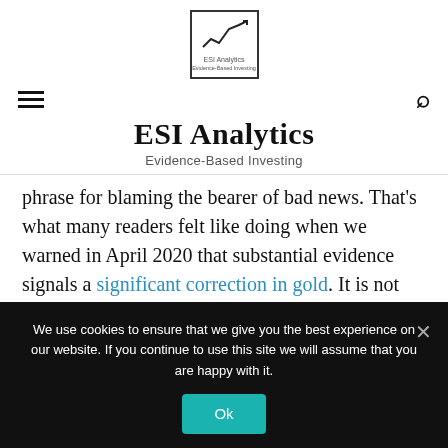[Figure (logo): ESI Analytics logo: box with upward trending chart line and text 'ESI Analytics' below]
ESI Analytics
Evidence-Based Investing
phrase for blaming the bearer of bad news. That's what many readers felt like doing when we warned in April 2020 that substantial evidence signals a significant correction in gold. It is not great to bear bad news, indeed. Nonetheless, it
We use cookies to ensure that we give you the best experience on our website. If you continue to use this site we will assume that you are happy with it.